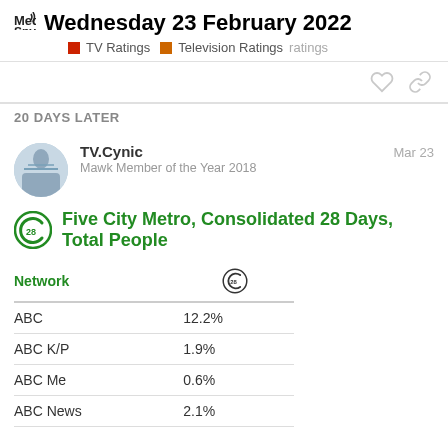Wednesday 23 February 2022 — TV Ratings | Television Ratings | ratings
20 DAYS LATER
TV.Cynic — Mawk Member of the Year 2018 — Mar 23
Five City Metro, Consolidated 28 Days, Total People
| Network | 28 |
| --- | --- |
| ABC | 12.2% |
| ABC K/P | 1.9% |
| ABC Me | 0.6% |
| ABC News | 2.1% |